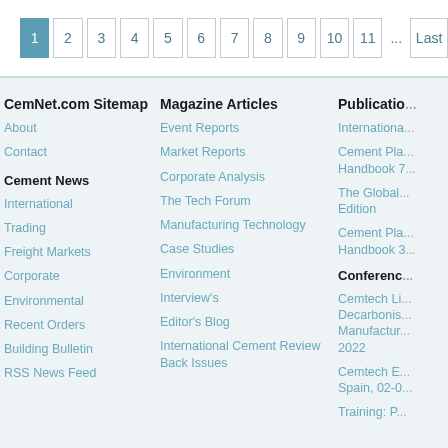Pagination: 1 2 3 4 5 6 7 8 9 10 11 ... Last
CemNet.com Sitemap
About
Contact
Cement News
International
Trading
Freight Markets
Corporate
Environmental
Recent Orders
Building Bulletin
RSS News Feed
Magazine Articles
Event Reports
Market Reports
Corporate Analysis
The Tech Forum
Manufacturing Technology
Case Studies
Environment
Interview's
Editor's Blog
International Cement Review Back Issues
Publications
International...
Cement Pla... Handbook 7...
The Global... Edition
Cement Pla... Handbook 3...
Conferences
Cemtech Li... Decarbonis... Manufactur... 2022
Cemtech E... Spain, 02-0...
Training: P...